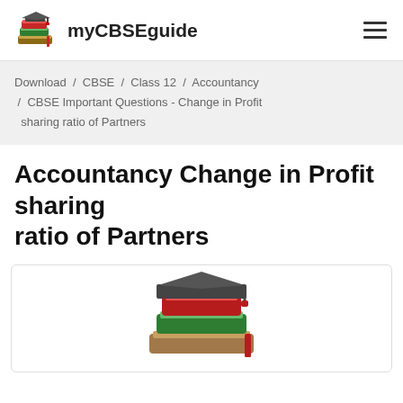myCBSEguide
Download / CBSE / Class 12 / Accountancy / CBSE Important Questions - Change in Profit sharing ratio of Partners
Accountancy Change in Profit sharing ratio of Partners
[Figure (illustration): Stack of books with graduation cap — myCBSEguide logo illustration]